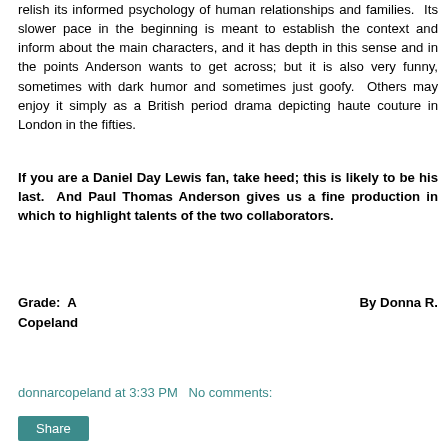relish its informed psychology of human relationships and families.  Its slower pace in the beginning is meant to establish the context and inform about the main characters, and it has depth in this sense and in the points Anderson wants to get across; but it is also very funny, sometimes with dark humor and sometimes just goofy.  Others may enjoy it simply as a British period drama depicting haute couture in London in the fifties.
If you are a Daniel Day Lewis fan, take heed; this is likely to be his last.  And Paul Thomas Anderson gives us a fine production in which to highlight talents of the two collaborators.
Grade:  A    By Donna R. Copeland
donnarcopeland at 3:33 PM   No comments: